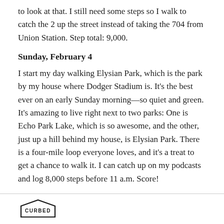to look at that. I still need some steps so I walk to catch the 2 up the street instead of taking the 704 from Union Station. Step total: 9,000.
Sunday, February 4
I start my day walking Elysian Park, which is the park by my house where Dodger Stadium is. It’s the best ever on an early Sunday morning—so quiet and green. It’s amazing to live right next to two parks: One is Echo Park Lake, which is so awesome, and the other, just up a hill behind my house, is Elysian Park. There is a four-mile loop everyone loves, and it’s a treat to get a chance to walk it. I can catch up on my podcasts and log 8,000 steps before 11 a.m. Score!
CURBED